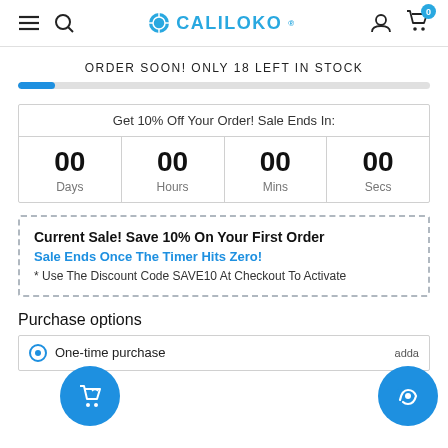CALILOKO
ORDER SOON! ONLY 18 LEFT IN STOCK
| Get 10% Off Your Order! Sale Ends In: |
| --- |
| 00 Days | 00 Hours | 00 Mins | 00 Secs |
Current Sale! Save 10% On Your First Order
Sale Ends Once The Timer Hits Zero!
* Use The Discount Code SAVE10 At Checkout To Activate
Purchase options
One-time purchase